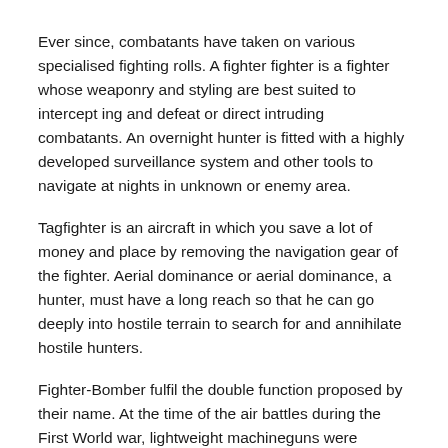Ever since, combatants have taken on various specialised fighting rolls. A fighter fighter is a fighter whose weaponry and styling are best suited to intercept ing and defeat or direct intruding combatants. An overnight hunter is fitted with a highly developed surveillance system and other tools to navigate at nights in unknown or enemy area.
Tagfighter is an aircraft in which you save a lot of money and place by removing the navigation gear of the fighter. Aerial dominance or aerial dominance, a hunter, must have a long reach so that he can go deeply into hostile terrain to search for and annihilate hostile hunters.
Fighter-Bomber fulfil the double function proposed by their name. At the time of the air battles during the First World war, lightweight machineguns were synched to shoot by the aircraft prop, and at the end of the battle, combatants such as the German Fokker D.VII and the French Spat reached a speed of 215 mph.
The majority of them were double-deckers made of wood frame and fabric skin, as were many of the usual inter-war warriors.